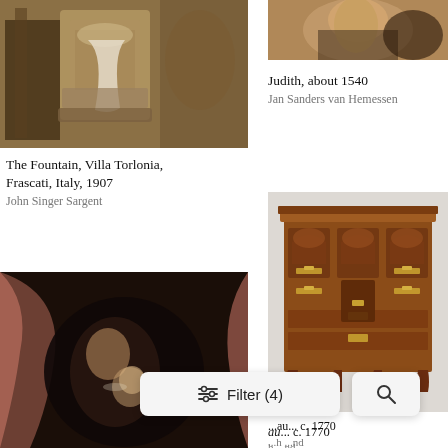[Figure (photo): Detail of a painting showing figures near a decorative stone pedestal or fountain base, with draped white fabric and staffs or poles visible — The Fountain, Villa Torlonia, Frascati, Italy, 1907 by John Singer Sargent]
[Figure (photo): Close-up detail of a painting showing the torso of a woman holding a bag — Judith, about 1540 by Jan Sanders van Hemessen]
Judith, about 1540
Jan Sanders van Hemessen
The Fountain, Villa Torlonia, Frascati, Italy, 1907
John Singer Sargent
[Figure (photo): Dark painting of a woman and child under pink drapery curtains, sleeping or resting — partial view]
[Figure (photo): American Chippendale-style mahogany bureau/chest of drawers with carved fan details and brass hardware, c. 1770]
...eau... c. 1770
...h ...nd
Filter (4)